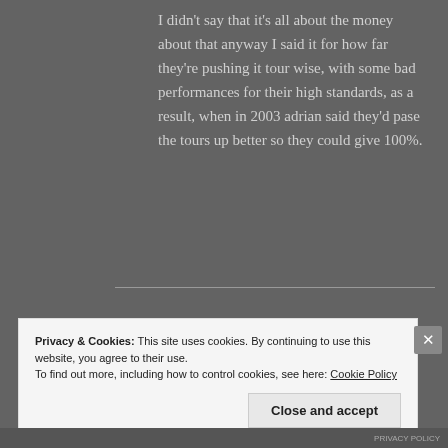I didn't say that it's all about the money about that anyway I said it for how far they're pushing it tour wise, with some bad performances for their high standards, as a result, when in 2003 adrian said they'd pase the tours up better so they could give 100%.
Privacy & Cookies: This site uses cookies. By continuing to use this website, you agree to their use. To find out more, including how to control cookies, see here: Cookie Policy
Close and accept